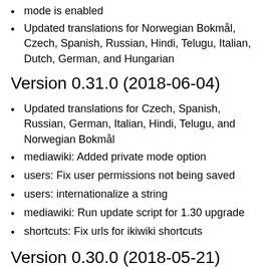mode is enabled
Updated translations for Norwegian Bokmål, Czech, Spanish, Russian, Hindi, Telugu, Italian, Dutch, German, and Hungarian
Version 0.31.0 (2018-06-04)
Updated translations for Czech, Spanish, Russian, German, Italian, Hindi, Telugu, and Norwegian Bokmål
mediawiki: Added private mode option
users: Fix user permissions not being saved
users: internationalize a string
mediawiki: Run update script for 1.30 upgrade
shortcuts: Fix urls for ikiwiki shortcuts
Version 0.30.0 (2018-05-21)
Updated translations for Russian, Italian